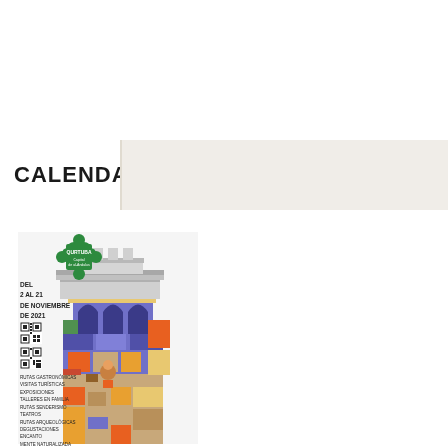CALENDAR
[Figure (illustration): Quintuba Capital de al-Andalus event poster showing a colorful illustrated Moorish tower/minaret with geometric mosaic-style coloring in blue, orange, yellow, green and brown tones. Includes a green logo badge, date text, QR codes, and list of activities.]
DEL
2 AL 21
DE NOVIEMBRE
DE 2021
RUTAS GASTRONÓMICAS
VISITAS TURÍSTICAS
EXPOSICIONES
TALLERES EN FAMILIA
RUTAS SENDERISMO
TEATROS
RUTAS ARQUEOLÓGICAS
DEGUSTACIONES
ENCANTO
MENTE NATURALIZADA
RUTAS EN BICICLETA
TALLERES DE COCINA
ACTIVIDADES INFANTILES